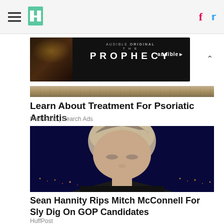HuffPost navigation with hamburger menu, logo, Facebook and Twitter icons
[Figure (screenshot): Audible Original 'The Prophecy' advertisement banner with dark background]
[Figure (photo): Partial outdoor scene image strip at top of ad article]
Learn About Treatment For Psoriatic Arthritis
Red Gobo | Search Ads
[Figure (photo): Close-up photo of Sean Hannity against dark blue city night background]
Sean Hannity Rips Mitch McConnell For Sly Dig On GOP Candidates
HuffPost